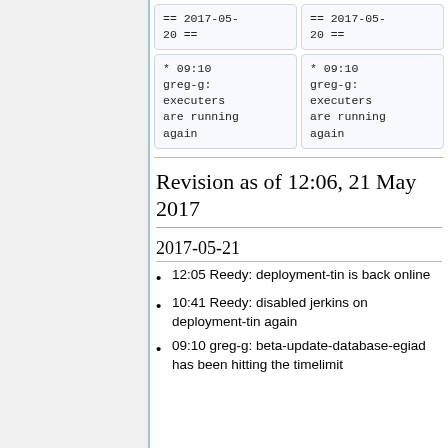== 2017-05-20 ==
== 2017-05-20 ==
* 09:10 greg-g: executers are running again
* 09:10 greg-g: executers are running again
Revision as of 12:06, 21 May 2017
2017-05-21
12:05 Reedy: deployment-tin is back online
10:41 Reedy: disabled jerkins on deployment-tin again
09:10 greg-g: beta-update-database-egiad has been hitting the timelimit